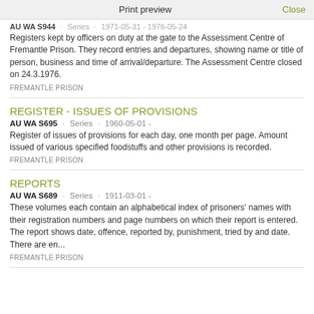Print preview   Close
AU WA S944 · Series · 1971-05-31 - 1976-05-24
Registers kept by officers on duty at the gate to the Assessment Centre of Fremantle Prison. They record entries and departures, showing name or title of person, business and time of arrival/departure. The Assessment Centre closed on 24.3.1976.
FREMANTLE PRISON
REGISTER - ISSUES OF PROVISIONS
AU WA S695 · Series · 1960-05-01 -
Register of issues of provisions for each day, one month per page. Amount issued of various specified foodstuffs and other provisions is recorded.
FREMANTLE PRISON
REPORTS
AU WA S689 · Series · 1911-03-01 -
These volumes each contain an alphabetical index of prisoners' names with their registration numbers and page numbers on which their report is entered. The report shows date, offence, reported by, punishment, tried by and date. There are en...
FREMANTLE PRISON